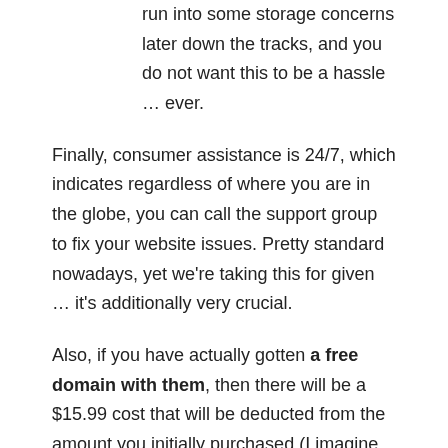run into some storage concerns later down the tracks, and you do not want this to be a hassle … ever.
Finally, consumer assistance is 24/7, which indicates regardless of where you are in the globe, you can call the support group to fix your website issues. Pretty standard nowadays, yet we're taking this for given … it's additionally very crucial.
Also, if you have actually gotten a free domain with them, then there will be a $15.99 cost that will be deducted from the amount you initially purchased (I imagine this is due to the fact that it kind of takes the "domain out of the marketplace", unsure concerning this, yet there most likely is a hard-cost for registering it).
Lastly, any demands after one month for a refund … are void (although in all honesty … they need to possibly be rigorous right here).
S…